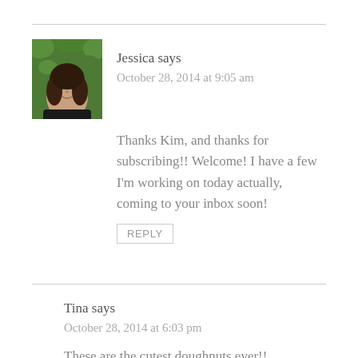[Figure (photo): Avatar photo of Jessica, a woman with dark wavy hair against a green leafy background]
Jessica says
October 28, 2014 at 9:05 am
Thanks Kim, and thanks for subscribing!! Welcome! I have a few I'm working on today actually, coming to your inbox soon!
REPLY
Tina says
October 28, 2014 at 6:03 pm
These are the cutest doughnuts ever!!